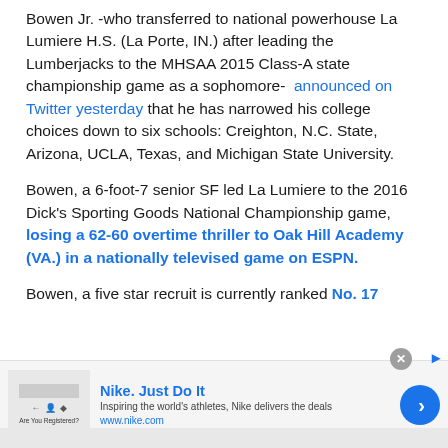Bowen Jr. -who transferred to national powerhouse La Lumiere H.S. (La Porte, IN.) after leading the Lumberjacks to the MHSAA 2015 Class-A state championship game as a sophomore-  announced on Twitter yesterday that he has narrowed his college choices down to six schools: Creighton, N.C. State, Arizona, UCLA, Texas, and Michigan State University.
Bowen, a 6-foot-7 senior SF led La Lumiere to the 2016 Dick's Sporting Goods National Championship game, losing a 62-60 overtime thriller to Oak Hill Academy (VA.) in a nationally televised game on ESPN.
Bowen, a five star recruit is currently ranked No. 17
[Figure (screenshot): Nike advertisement banner: 'Nike. Just Do It' with tagline 'Inspiring the world's athletes, Nike delivers the deals', URL www.nike.com, a close button, and a blue arrow chevron button.]